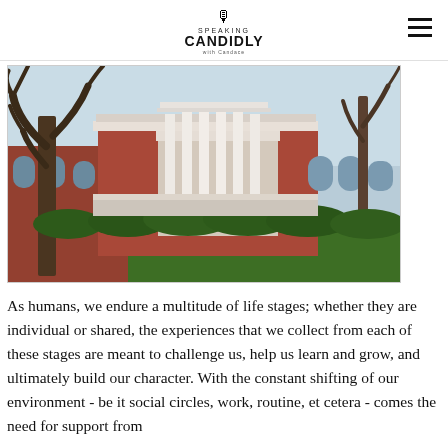Speaking CANDIDLY
[Figure (photo): Exterior view of a red brick neoclassical university building with large white columns and a white balustrade, framed by a large bare tree in the foreground and surrounded by green lawn and shrubs, likely the Rotunda at the University of Virginia.]
As humans, we endure a multitude of life stages; whether they are individual or shared, the experiences that we collect from each of these stages are meant to challenge us, help us learn and grow, and ultimately build our character. With the constant shifting of our environment - be it social circles, work, routine, et cetera - comes the need for support from